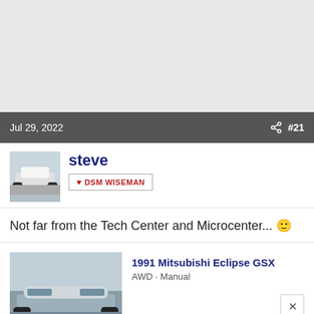[Figure (screenshot): Gray blank area at top of page]
Jul 29, 2022   #21
[Figure (photo): User avatar showing a white car, profile image for user 'steve']
steve
DSM WISEMAN
Not far from the Tech Center and Microcenter... 🙂
[Figure (photo): Thumbnail image of a 1991 Mitsubishi Eclipse GSX in a parking lot]
1991 Mitsubishi Eclipse GSX
AWD · Manual